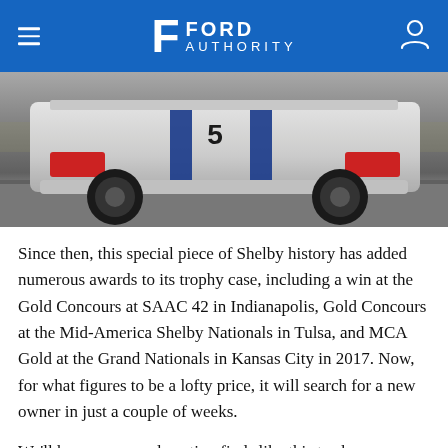Ford Authority
[Figure (photo): Rear three-quarter view of a white Shelby GT350 with blue racing stripes, photographed on pavement with desert scrubland in background. Race number 5 visible on the car.]
Since then, this special piece of Shelby history has added numerous awards to its trophy case, including a win at the Gold Concours at SAAC 42 in Indianapolis, Gold Concours at the Mid-America Shelby Nationals in Tulsa, and MCA Gold at the Grand Nationals in Kansas City in 2017. Now, for what figures to be a lofty price, it will search for a new owner in just a couple of weeks.
We'll have more cool auction finds like this to share soon, so be sure and subscribe to Ford Authority for more Ford Mustang news, Shelby GT350 news, and